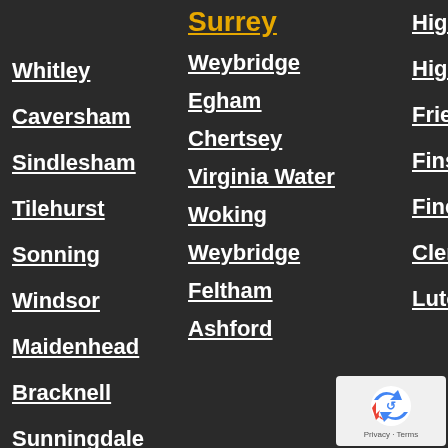Surrey
Whitley
Weybridge
Highgate
Caversham
Egham
Highbury
Sindlesham
Chertsey
Friern B
Tilehurst
Virginia Water
Finsbury
Sonning
Woking
Clerkenwell
Windsor
Weybridge
Luton
Maidenhead
Feltham
Bracknell
Ashford
Sunningdale
Camberley
Wokingham